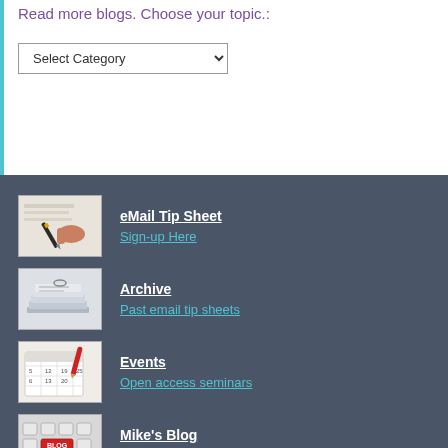Read more blogs. Choose your topic.:
[Figure (other): Select Category dropdown widget]
[Figure (photo): Hand writing with a fountain pen on paper]
eMail Tip Sheet
Sign-up Here
[Figure (photo): Stack of papers/documents]
Archive
Past email tip sheets
[Figure (photo): Calendar with a red pen]
Events
Open access seminars
[Figure (photo): Keyboard with a red blog key]
Mike's Blog
Read it here